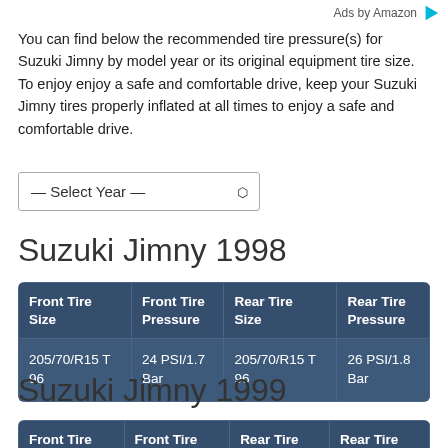Ads by Amazon
You can find below the recommended tire pressure(s) for Suzuki Jimny by model year or its original equipment tire size. To enjoy enjoy a safe and comfortable drive, keep your Suzuki Jimny tires properly inflated at all times to enjoy a safe and comfortable drive.
Suzuki Jimny 1998
| Front Tire Size | Front Tire Pressure | Rear Tire Size | Rear Tire Pressure |
| --- | --- | --- | --- |
| 205/70/R15 T 96 | 24 PSI/1.7 Bar | 205/70/R15 T 96 | 26 PSI/1.8 Bar |
Suzuki Jimny 1999
| Front Tire Size | Front Tire Pressure | Rear Tire Size | Rear Tire Pressure |
| --- | --- | --- | --- |